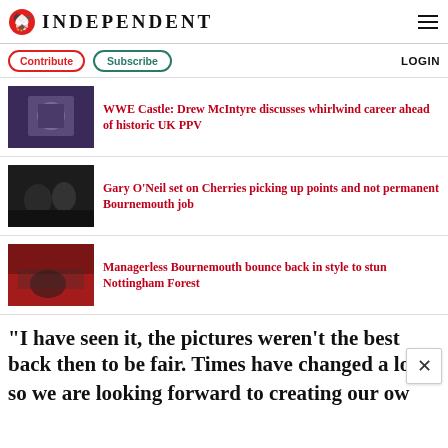INDEPENDENT
Contribute   Subscribe   LOGIN
WWE Castle: Drew McIntyre discusses whirlwind career ahead of historic UK PPV
Gary O'Neil set on Cherries picking up points and not permanent Bournemouth job
Managerless Bournemouth bounce back in style to stun Nottingham Forest
“I have seen it, the pictures weren’t the best back then to be fair. Times have changed a lot so we are looking forward to creating our ow…